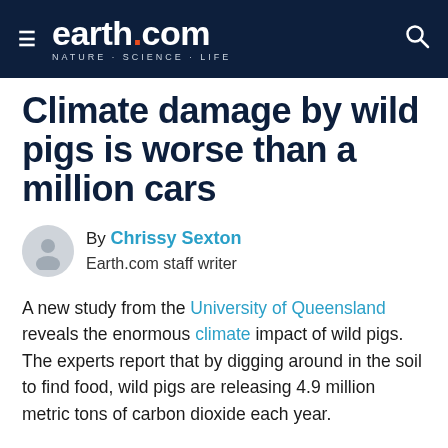earth.com — NATURE · SCIENCE · LIFE
Climate damage by wild pigs is worse than a million cars
By Chrissy Sexton
Earth.com staff writer
A new study from the University of Queensland reveals the enormous climate impact of wild pigs. The experts report that by digging around in the soil to find food, wild pigs are releasing 4.9 million metric tons of carbon dioxide each year.
According to the researchers, the massive amount of CO2 emissions related to pigs